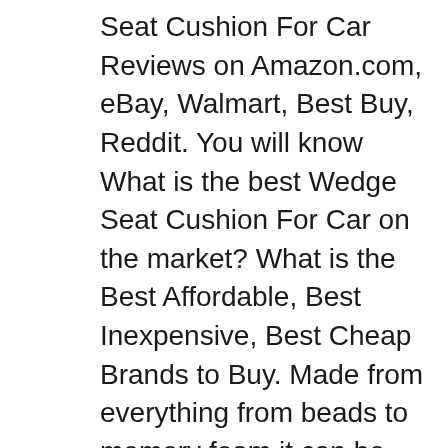Seat Cushion For Car Reviews on Amazon.com, eBay, Walmart, Best Buy, Reddit. You will know What is the best Wedge Seat Cushion For Car on the market? What is the Best Affordable, Best Inexpensive, Best Cheap Brands to Buy. Made from everything from beads to memory foam it can be challenging to know how to find the best car cushion for your specific back problem. That's why we took a look at some of the top cushions out there to bring you the definitive guide to the best car seat cushions for long drives.
In this review for the best car seat cushion for long drives, we would like to introduce a cushion which not only